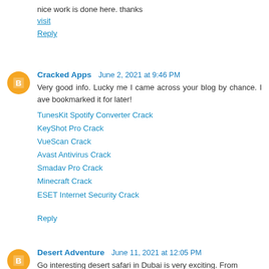nice work is done here. thanks
visit
Reply
Cracked Apps  June 2, 2021 at 9:46 PM
Very good info. Lucky me I came across your blog by chance. I ave bookmarked it for later!
TunesKit Spotify Converter Crack
KeyShot Pro Crack
VueScan Crack
Avast Antivirus Crack
Smadav Pro Crack
Minecraft Crack
ESET Internet Security Crack
Reply
Desert Adventure  June 11, 2021 at 12:05 PM
Go interesting desert safari in Dubai is very exciting. From